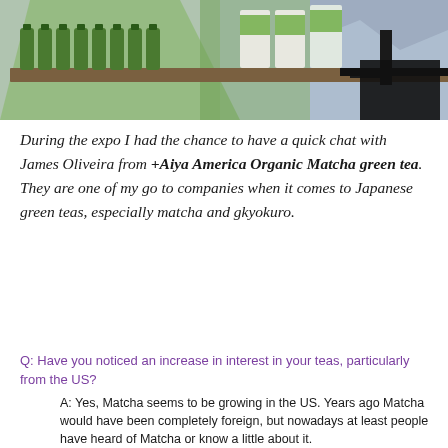[Figure (photo): A shelf with green bottles and white packages in a store or booth setting, with a green and black background. The shelf is metallic/dark brown.]
During the expo I had the chance to have a quick chat with James Oliveira from +Aiya America Organic Matcha green tea. They are one of my go to companies when it comes to Japanese green teas, especially matcha and gkyokuro.
Q: Have you noticed an increase in interest in your teas, particularly from the US?
A: Yes, Matcha seems to be growing in the US. Years ago Matcha would have been completely foreign, but nowadays at least people have heard of Matcha or know a little about it.